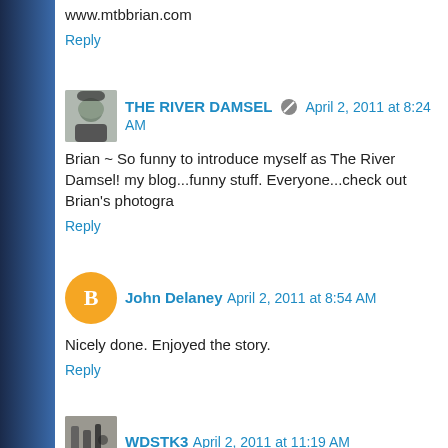www.mtbbrian.com
Reply
THE RIVER DAMSEL  April 2, 2011 at 8:24 AM
Brian ~ So funny to introduce myself as The River Damsel! my blog...funny stuff. Everyone...check out Brian's photogra
Reply
John Delaney  April 2, 2011 at 8:54 AM
Nicely done. Enjoyed the story.
Reply
WDSTK3  April 2, 2011 at 11:19 AM
Nice! I've thought about tying some flies especially streame And it's Kansas, Boston, Dire Straits, ad infinitum, that keep
Reply